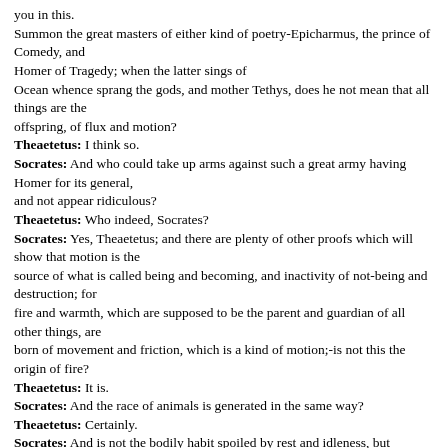you in this.
Summon the great masters of either kind of poetry-Epicharmus, the prince of Comedy, and
Homer of Tragedy; when the latter sings of
Ocean whence sprang the gods, and mother Tethys, does he not mean that all things are the
offspring, of flux and motion?
Theaetetus: I think so.
Socrates: And who could take up arms against such a great army having Homer for its general, and not appear ridiculous?
Theaetetus: Who indeed, Socrates?
Socrates: Yes, Theaetetus; and there are plenty of other proofs which will show that motion is the source of what is called being and becoming, and inactivity of not-being and destruction; for fire and warmth, which are supposed to be the parent and guardian of all other things, are born of movement and friction, which is a kind of motion;-is not this the origin of fire?
Theaetetus: It is.
Socrates: And the race of animals is generated in the same way?
Theaetetus: Certainly.
Socrates: And is not the bodily habit spoiled by rest and idleness, but preserved for a long time by motion and exercise?
Theaetetus: True.